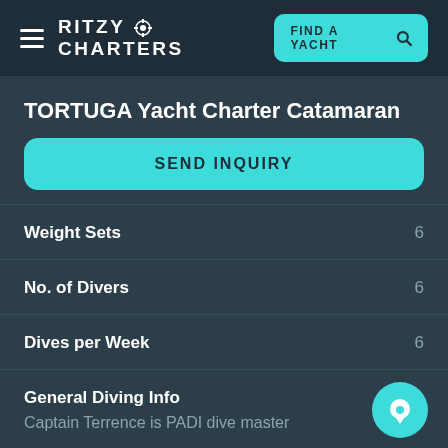RITZY CHARTERS — FIND A YACHT
TORTUGA Yacht Charter Catamaran
SEND INQUIRY
Weight Sets 6
No. of Divers 6
Dives per Week 6
General Diving Info — Captain Terrence is PADI dive master